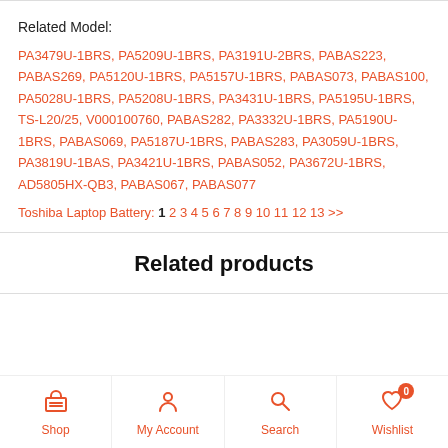Related Model:
PA3479U-1BRS, PA5209U-1BRS, PA3191U-2BRS, PABAS223, PABAS269, PA5120U-1BRS, PA5157U-1BRS, PABAS073, PABAS100, PA5028U-1BRS, PA5208U-1BRS, PA3431U-1BRS, PA5195U-1BRS, TS-L20/25, V000100760, PABAS282, PA3332U-1BRS, PA5190U-1BRS, PABAS069, PA5187U-1BRS, PABAS283, PA3059U-1BRS, PA3819U-1BAS, PA3421U-1BRS, PABAS052, PA3672U-1BRS, AD5805HX-QB3, PABAS067, PABAS077
Toshiba Laptop Battery: 1 2 3 4 5 6 7 8 9 10 11 12 13 >>
Related products
Shop | My Account | Search | Wishlist